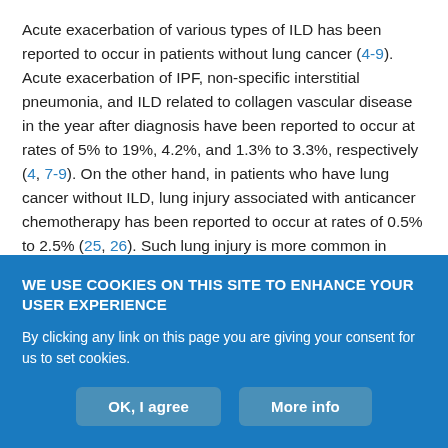Acute exacerbation of various types of ILD has been reported to occur in patients without lung cancer (4-9). Acute exacerbation of IPF, non-specific interstitial pneumonia, and ILD related to collagen vascular disease in the year after diagnosis have been reported to occur at rates of 5% to 19%, 4.2%, and 1.3% to 3.3%, respectively (4, 7-9). On the other hand, in patients who have lung cancer without ILD, lung injury associated with anticancer chemotherapy has been reported to occur at rates of 0.5% to 2.5% (25, 26). Such lung injury is more common in patients with ILD than in those without (25). Additionally, the frequency of acute exacerbation of ILD is higher in Japanese patients than in patients from other countries, due,
WE USE COOKIES ON THIS SITE TO ENHANCE YOUR USER EXPERIENCE
By clicking any link on this page you are giving your consent for us to set cookies.
OK, I agree | More info